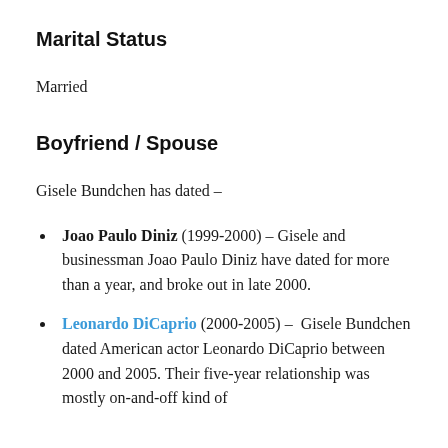Marital Status
Married
Boyfriend / Spouse
Gisele Bundchen has dated –
Joao Paulo Diniz (1999-2000) – Gisele and businessman Joao Paulo Diniz have dated for more than a year, and broke out in late 2000.
Leonardo DiCaprio (2000-2005) – Gisele Bundchen dated American actor Leonardo DiCaprio between 2000 and 2005. Their five-year relationship was mostly on-and-off kind of